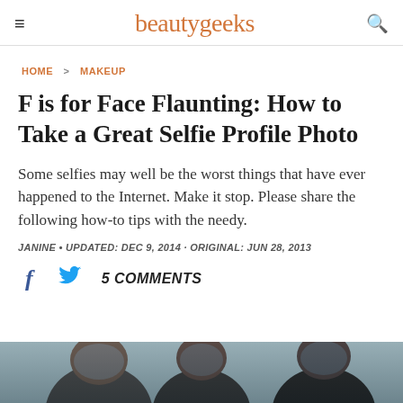beautygeeks
HOME > MAKEUP
F is for Face Flaunting: How to Take a Great Selfie Profile Photo
Some selfies may well be the worst things that have ever happened to the Internet. Make it stop. Please share the following how-to tips with the needy.
JANINE • UPDATED: DEC 9, 2014 · ORIGINAL: JUN 28, 2013
5 COMMENTS
[Figure (photo): Partial photo visible at bottom of page, showing what appears to be a person's head/hair, dark tones]